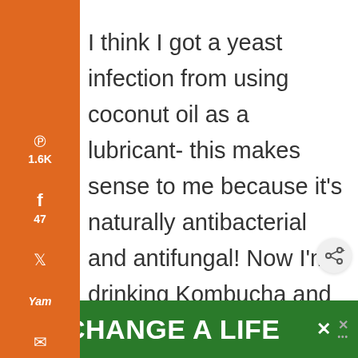I think I got a yeast infection from using coconut oil as a lubricant- this makes sense to me because it's naturally antibacterial and antifungal! Now I'm drinking Kombucha and reading conflicting info as to whether that's a good idea- help!
[Figure (screenshot): Green advertisement banner at bottom with dog image and text 'CHANGE A LIFE']